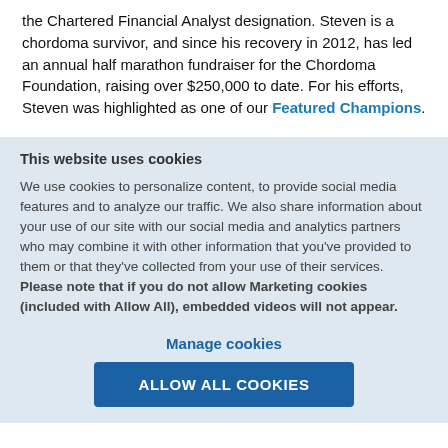the Chartered Financial Analyst designation. Steven is a chordoma survivor, and since his recovery in 2012, has led an annual half marathon fundraiser for the Chordoma Foundation, raising over $250,000 to date. For his efforts, Steven was highlighted as one of our Featured Champions.
This website uses cookies
We use cookies to personalize content, to provide social media features and to analyze our traffic. We also share information about your use of our site with our social media and analytics partners who may combine it with other information that you've provided to them or that they've collected from your use of their services. Please note that if you do not allow Marketing cookies (included with Allow All), embedded videos will not appear.
Manage cookies
ALLOW ALL COOKIES